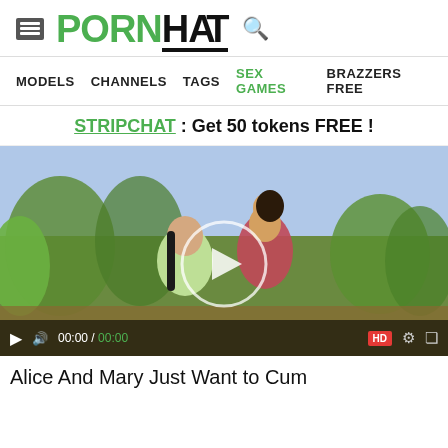PORNHAT
MODELS  CHANNELS  TAGS  SEX GAMES  BRAZZERS FREE
STRIPCHAT : Get 50 tokens FREE !
[Figure (photo): Video player showing two women outdoors in nature setting with video controls bar showing 00:00 / 00:00 and HD badge]
Alice And Mary Just Want to Cum